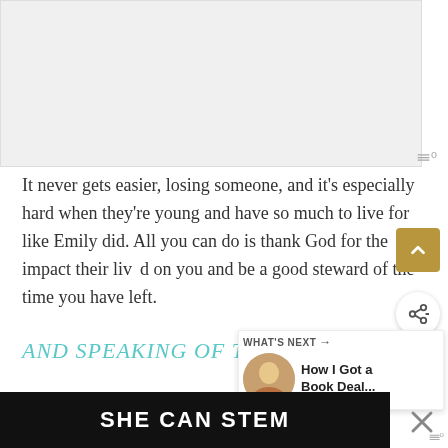[Figure (photo): Large image placeholder at top of page, light gray background]
It never gets easier, losing someone, and it’s especially hard when they’re young and have so much to live for like Emily did. All you can do is thank God for the impact their lives had on you and be a good steward of the time you have left.
AND SPEAKING OF TA…
WHAT’S NEXT → How I Got a Book Deal...
April always looms over me for the first part of the year.
[Figure (screenshot): SHE CAN STEM advertisement banner at bottom of page]